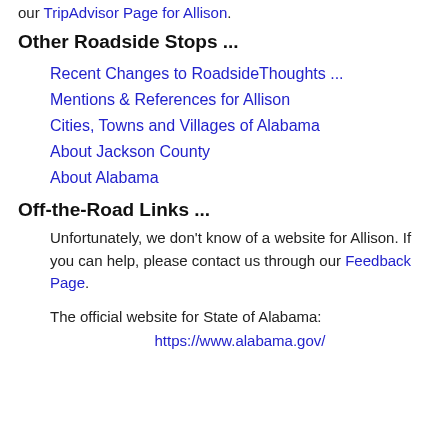our TripAdvisor Page for Allison.
Other Roadside Stops ...
Recent Changes to RoadsideThoughts ...
Mentions & References for Allison
Cities, Towns and Villages of Alabama
About Jackson County
About Alabama
Off-the-Road Links ...
Unfortunately, we don't know of a website for Allison. If you can help, please contact us through our Feedback Page.
The official website for State of Alabama: https://www.alabama.gov/